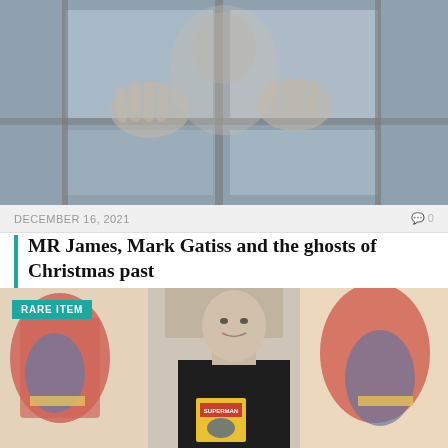[Figure (photo): Atmospheric photo of a person pressing hands against a window glass, viewed from outside]
DECEMBER 16, 2021
0
MR James, Mark Gatiss and the ghosts of Christmas past
With his haunted landscapes, his antiquarian mood and his troubled souls buried on the north...
[Figure (photo): Man holding a Superman comic book, flanked by Superman comic imagery on both sides. Badge reads RARE ITEM in top left corner.]